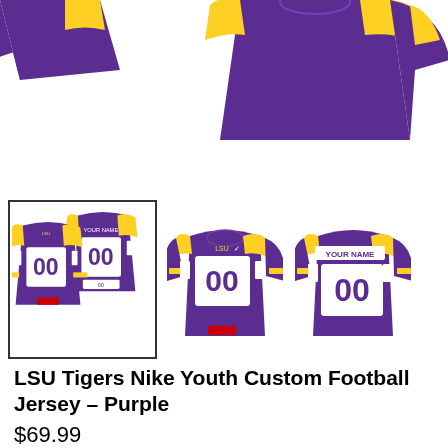[Figure (photo): Close-up top portion of two purple LSU Tigers football jerseys cropped at top of page]
[Figure (photo): Three thumbnail views of purple LSU Tigers Nike Youth Custom Football Jersey showing front angle, front, and back views with number 00 and YOUR NAME text]
LSU Tigers Nike Youth Custom Football Jersey – Purple
$69.99